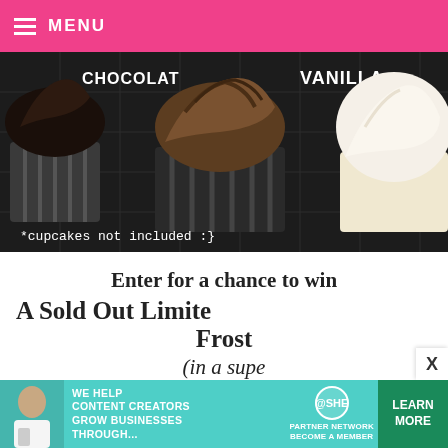MENU
[Figure (photo): Three cupcakes on a dark patterned background — chocolate and vanilla flavored. Labels visible: CHOCOLAT and VANILLA. Caption overlay: *cupcakes not included :}]
*cupcakes not included :}
Enter for a chance to win
A Sold Out Limite
Frost
(in a supe
To enter, just let me know which flavor you'd like to have in the comments section here on the
[Figure (advertisement): SHE Partner Network ad banner: We help content creators grow businesses through... Learn More button.]